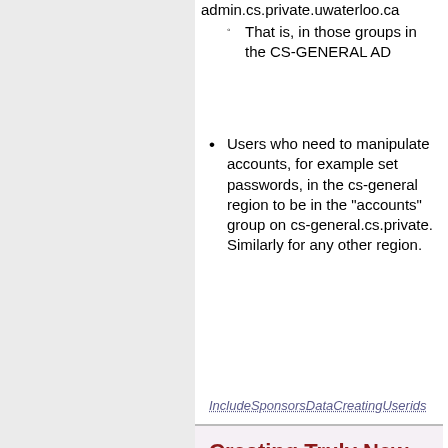admin.cs.private.uwaterloo.ca
That is, in those groups in the CS-GENERAL AD
Users who need to manipulate accounts, for example set passwords, in the cs-general region to be in the "accounts" group on cs-general.cs.private. Similarly for any other region.
IncludeSponsorsDataCreatingUserids
Creating Truly New Users (Userids)
Before you can use the sponsors data software to create new accounts for a